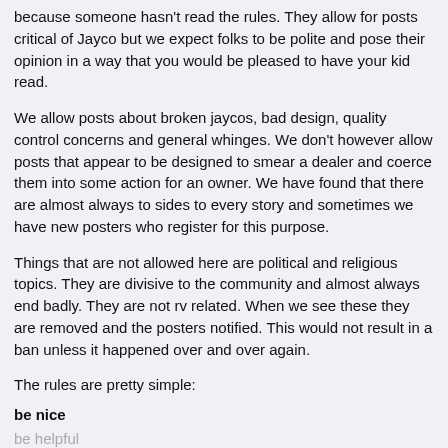because someone hasn't read the rules. They allow for posts critical of Jayco but we expect folks to be polite and pose their opinion in a way that you would be pleased to have your kid read.
We allow posts about broken jaycos, bad design, quality control concerns and general whinges. We don't however allow posts that appear to be designed to smear a dealer and coerce them into some action for an owner. We have found that there are almost always to sides to every story and sometimes we have new posters who register for this purpose.
Things that are not allowed here are political and religious topics. They are divisive to the community and almost always end badly. They are not rv related. When we see these they are removed and the posters notified. This would not result in a ban unless it happened over and over again.
The rules are pretty simple:
be nice
be helpful
be reasonable
no soliciting and no spamming